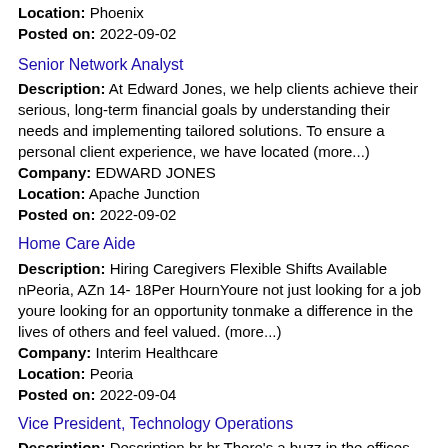Location: Phoenix
Posted on: 2022-09-02
Senior Network Analyst
Description: At Edward Jones, we help clients achieve their serious, long-term financial goals by understanding their needs and implementing tailored solutions. To ensure a personal client experience, we have located (more...)
Company: EDWARD JONES
Location: Apache Junction
Posted on: 2022-09-02
Home Care Aide
Description: Hiring Caregivers Flexible Shifts Available nPeoria, AZn 14- 18Per HournYoure not just looking for a job youre looking for an opportunity tonmake a difference in the lives of others and feel valued. (more...)
Company: Interim Healthcare
Location: Peoria
Posted on: 2022-09-04
Vice President, Technology Operations
Description: Description br br There's a buzz in the offices and hallways at TGen. A sense that something big is about to happen, and a feeling of satisfaction in knowing you're part of that team. No matter the (more...)
Company: TGen
Location: Phoenix